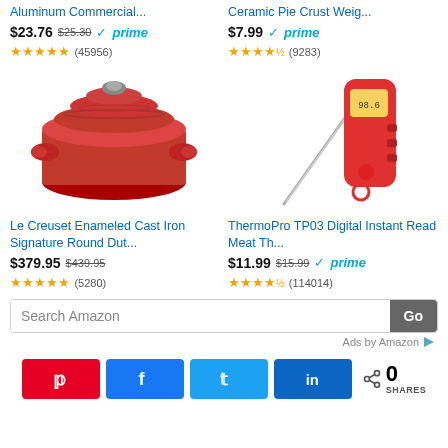Aluminum Commercial...
$23.76  $25.30  ✓prime
★★★★★ (45956)
Ceramic Pie Crust Weig...
$7.99  ✓prime
★★★★½ (9283)
[Figure (photo): Red Le Creuset enameled cast iron round dutch oven with lid]
Le Creuset Enameled Cast Iron Signature Round Dut...
$379.95  $439.95
★★★★★ (5280)
[Figure (photo): Red ThermoPro TP03 digital instant read meat thermometer, folded open]
ThermoPro TP03 Digital Instant Read Meat Th...
$11.99  $15.99  ✓prime
★★★★½ (114014)
Search Amazon
Ads by Amazon
0 SHARES